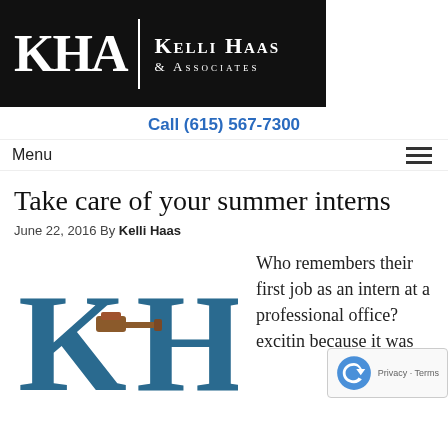[Figure (logo): KHA Kelli Haas & Associates law firm logo on black background]
Call (615) 567-7300
Menu
Take care of your summer interns
June 22, 2016 By Kelli Haas
[Figure (logo): Large KHA initials logo in steel blue with a brown gavel icon between K and H]
Who remembers their first job as an intern at a professional office? exciting because it was